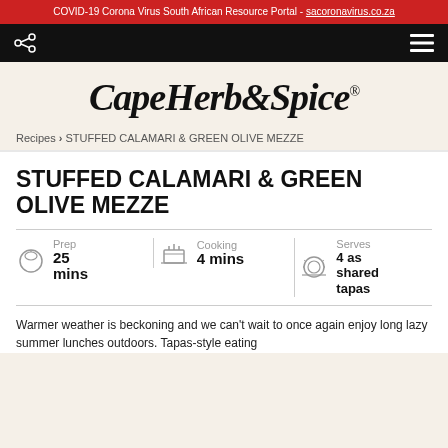COVID-19 Corona Virus South African Resource Portal - sacoronavirus.co.za
[Figure (screenshot): Navigation bar with share icon on left and hamburger menu on right, black background]
[Figure (logo): Cape Herb & Spice logo in italic script font]
Recipes > STUFFED CALAMARI & GREEN OLIVE MEZZE
STUFFED CALAMARI & GREEN OLIVE MEZZE
Prep 25 mins | Cooking 4 mins | Serves 4 as shared tapas
Warmer weather is beckoning and we can't wait to once again enjoy long lazy summer lunches outdoors. Tapas-style eating